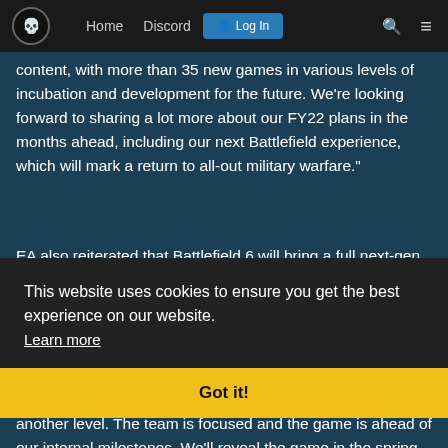Home  Discord  Log In
content, with more than 35 new games in various levels of incubation and development for the future. We're looking forward to sharing a lot more about our FY22 plans in the months ahead, including our next Battlefield experience, which will mark a return to all-out military warfare."
EA also reiterated that Battlefield 6 will bring a full next-gen experience, as it "takes full advantage of the power of next-generation platforms to bring massive, immersive battles that could never be brought to life before. Featuring maps with unprecedented scale, the next edition of Battlefield takes all the destruction, player agency, vehicle and weapon combat that the franchise is known for and elevates it to another level. The team is focused and the game is ahead of our internal milestones. We'll reveal the game in the spring, and deliver a defining Battlefield experience for our players in the 2021 holiday season."
This website uses cookies to ensure you get the best experience on our website.
Learn more
Got it!